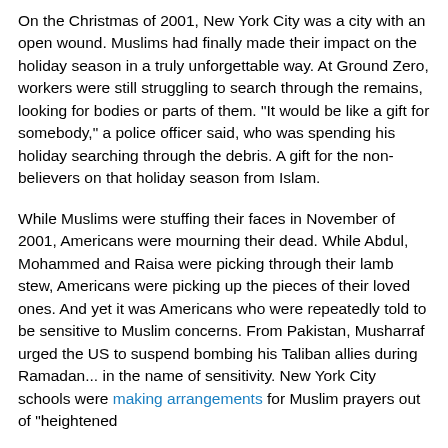On the Christmas of 2001, New York City was a city with an open wound. Muslims had finally made their impact on the holiday season in a truly unforgettable way. At Ground Zero, workers were still struggling to search through the remains, looking for bodies or parts of them. "It would be like a gift for somebody," a police officer said, who was spending his holiday searching through the debris. A gift for the non-believers on that holiday season from Islam.
While Muslims were stuffing their faces in November of 2001, Americans were mourning their dead. While Abdul, Mohammed and Raisa were picking through their lamb stew, Americans were picking up the pieces of their loved ones. And yet it was Americans who were repeatedly told to be sensitive to Muslim concerns. From Pakistan, Musharraf urged the US to suspend bombing his Taliban allies during Ramadan... in the name of sensitivity. New York City schools were making arrangements for Muslim prayers out of "heightened